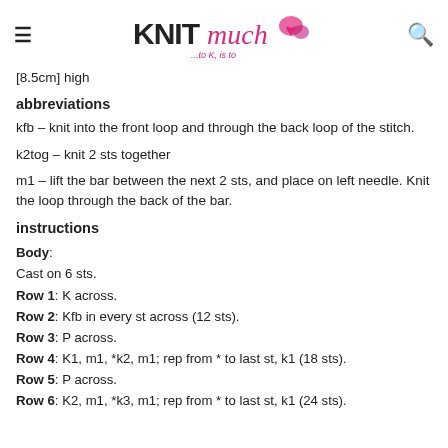KNITmuch …to K, is to
[8.5cm] high
abbreviations
kfb – knit into the front loop and through the back loop of the stitch.
k2tog – knit 2 sts together
m1 – lift the bar between the next 2 sts, and place on left needle. Knit the loop through the back of the bar.
instructions
Body: Cast on 6 sts.
Row 1: K across.
Row 2: Kfb in every st across (12 sts).
Row 3: P across.
Row 4: K1, m1, *k2, m1; rep from * to last st, k1 (18 sts).
Row 5: P across.
Row 6: K2, m1, *k3, m1; rep from * to last st, k1 (24 sts).